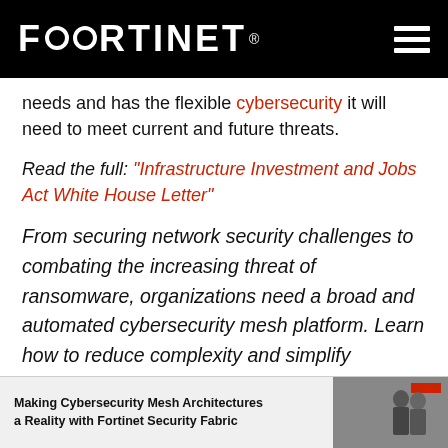FORTINET
needs and has the flexible cybersecurity it will need to meet current and future threats.
Read the full: "Infrastructure Investment and Jobs Act White House Letter"
From securing network security challenges to combating the increasing threat of ransomware, organizations need a broad and automated cybersecurity mesh platform. Learn how to reduce complexity and simplify operations with Fortinet's Security Fabric platform.
[Figure (screenshot): Thumbnail preview of a document titled 'Making Cybersecurity Mesh Architectures a Reality with Fortinet Security Fabric' with two people in background]